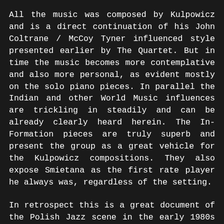All the music was composed by Kulpowicz and is a direct continuation of his John Coltrane / McCoy Tyner influenced style presented earlier by The Quartet. But in time the music becomes more contemplative and also more personal, as evident mostly on the solo piano pieces. In parallel the Indian and other World Music influences are trickling in steadily and can be already clearly heard herein. The In-Formation pieces are truly superb and present the group as a great vehicle for the Kulpowicz compositions. They also expose Smietana as the first rate player he always was, regardless of the setting.
In retrospect this is a great document of the Polish Jazz scene in the early 1980s and an important part of the legacy Kulpowicz left behind him, which should serve as an endless source of inspiration to new generations of Polish Jazz players. Definitely worth investigating!
Side Note: The Poljazz label, which originally released this album, was active for 20 years (between 1972 and 1991) and was owned by the Polish Jazz Society. Considering the